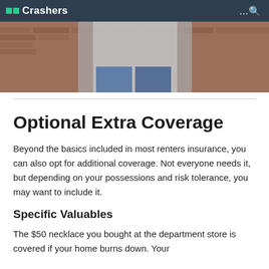Crashers
[Figure (photo): Person standing against a brick wall, wearing a grey hoodie and jeans, cropped to show torso and wall background]
Optional Extra Coverage
Beyond the basics included in most renters insurance, you can also opt for additional coverage. Not everyone needs it, but depending on your possessions and risk tolerance, you may want to include it.
Specific Valuables
The $50 necklace you bought at the department store is covered if your home burns down. Your